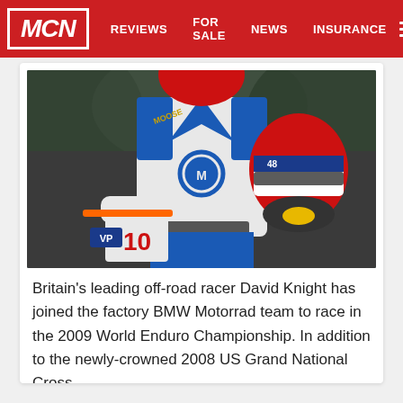MCN | REVIEWS | FOR SALE | NEWS | INSURANCE
[Figure (photo): Motocross rider wearing white and blue Moose Racing gear with number 10, holding a red/white/blue helmet, standing next to an orange KTM dirt bike. Wearing Scott goggles on helmet.]
Britain's leading off-road racer David Knight has joined the factory BMW Motorrad team to race in the 2009 World Enduro Championship. In addition to the newly-crowned 2008 US Grand National Cross...